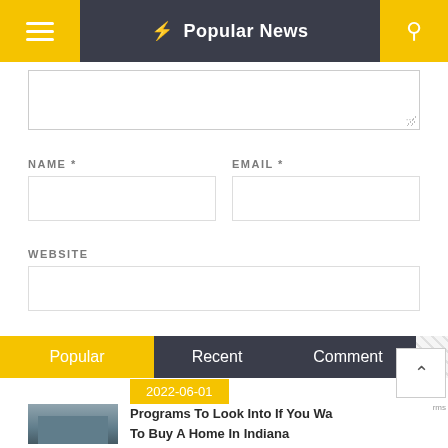Popular News
NAME * EMAIL * WEBSITE
Post Comment
Popular Recent Comment
2022-06-01
Programs To Look Into If You Want To Buy A Home In Indiana